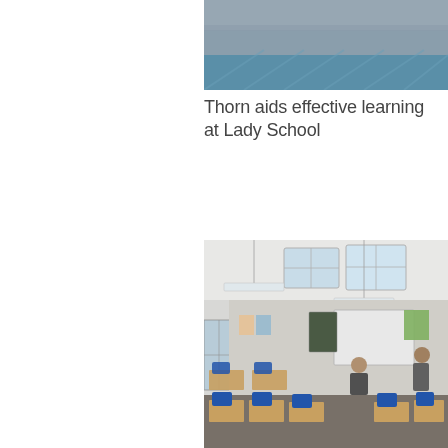[Figure (photo): Partial view of a swimming pool or sports facility interior, cropped at the top of the page]
Thorn aids effective learning at Lady School
[Figure (photo): Interior of a classroom with blue chairs, wooden desks, skylights, hanging fluorescent lights, whiteboard, and two people visible]